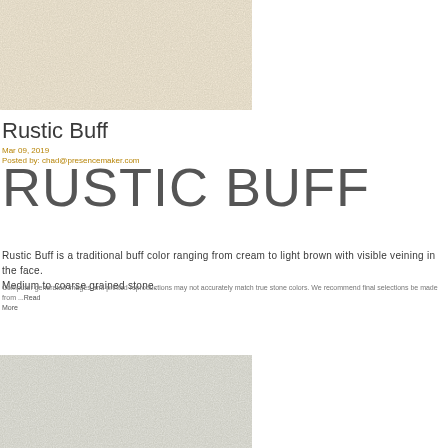[Figure (photo): Close-up texture photo of Rustic Buff stone showing cream to light brown coloring with visible veining, top of page]
Rustic Buff
Mar 09, 2019
Posted by: chad@presencemaker.com
RUSTIC BUFF
Rustic Buff is a traditional buff color ranging from cream to light brown with visible veining in the face. Medium to coarse grained stone.
Computer generated images and printed reproductions may not accurately match true stone colors. We recommend final selections be made from ...Read More
[Figure (photo): Close-up texture photo of Rustic Buff stone in a cooler grey-beige tone, bottom of page]